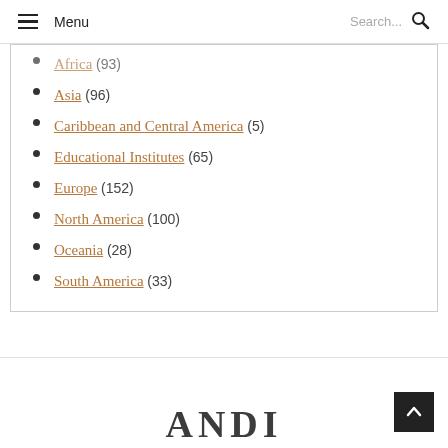Menu | Search...
Africa (93)
Asia (96)
Caribbean and Central America (5)
Educational Institutes (65)
Europe (152)
North America (100)
Oceania (28)
South America (33)